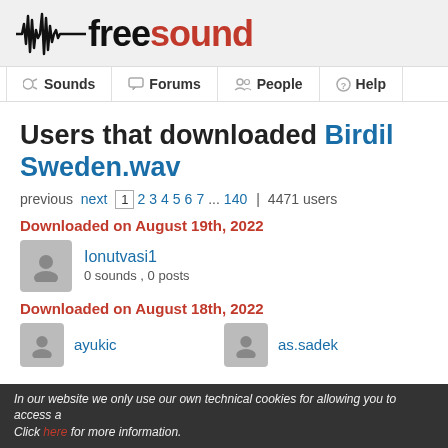[Figure (logo): Freesound logo with waveform icon and text 'freesound' (free in black, sound in red)]
Sounds | Forums | People | Help
Users that downloaded BirdLife_Sweden.wav
previous next 1 2 3 4 5 6 7 ... 140 | 4471 users
Downloaded on August 19th, 2022
Ionutvasi1
0 sounds , 0 posts
Downloaded on August 18th, 2022
ayukic
as.sadek
In our website we only use our own technical cookies for allowing you to access a... Click here for more information.